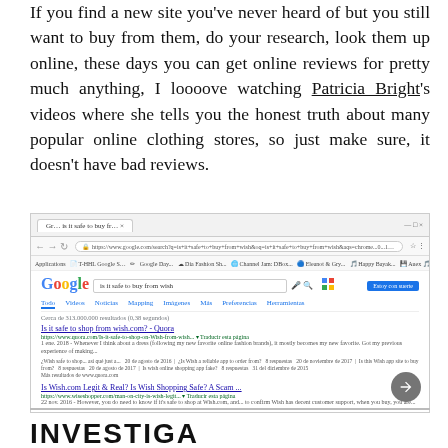If you find a new site you've never heard of but you still want to buy from them, do your research, look them up online, these days you can get online reviews for pretty much anything, I loooove watching Patricia Bright's videos where she tells you the honest truth about many popular online clothing stores, so just make sure, it doesn't have bad reviews.
[Figure (screenshot): Screenshot of a Google Chrome browser window showing a Google search for 'is it safe to buy from wish' with several search results about Wish.com safety and legitimacy.]
INVESTIGA